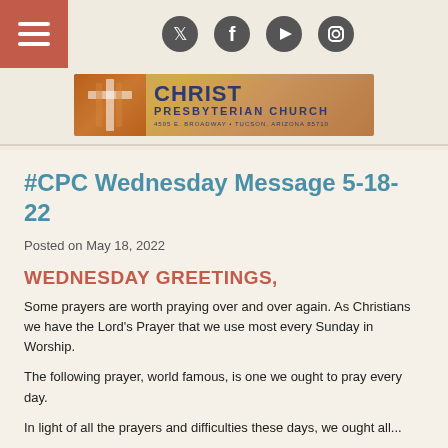[Figure (screenshot): Website header with hamburger menu (red box, top-left), social media icons (Twitter, Facebook, YouTube, Instagram), and Christ Presbyterian Church logo banner with cross graphic, church name, and address 4505 E. Broadway, Tucson, Arizona 85710]
#CPC Wednesday Message 5-18-22
Posted on May 18, 2022
WEDNESDAY GREETINGS,
Some prayers are worth praying over and over again.  As Christians we have the Lord's Prayer that we use most every Sunday in Worship.
The following prayer, world famous, is one we ought to pray every day.
In light of all the prayers and difficulties these days, we ought all...